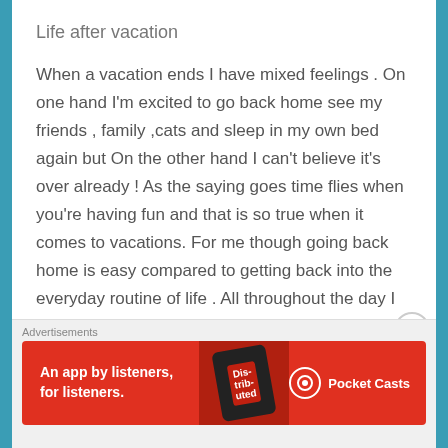Life after vacation
When a vacation ends I have mixed feelings . On one hand I'm excited to go back home see my friends , family ,cats and sleep in my own bed again but On the other hand I can't believe it's over already ! As the saying goes time flies when you're having fun and that is so true when it comes to vacations. For me though going back home is easy compared to getting back into the everyday routine of life . All throughout the day I keep thinking about how I wish I could just travel and blog all the time but I know that won't being happening soon . Even though it might some day ! The thing that works
Advertisements
[Figure (infographic): Red advertisement banner for Pocket Casts app reading 'An app by listeners, for listeners.' with phone graphic and Pocket Casts logo]